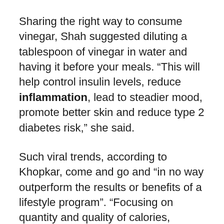Sharing the right way to consume vinegar, Shah suggested diluting a tablespoon of vinegar in water and having it before your meals. “This will help control insulin levels, reduce inflammation, lead to steadier mood, promote better skin and reduce type 2 diabetes risk,” she said.
Such viral trends, according to Khopkar, come and go and “in no way outperform the results or benefits of a lifestyle program”. “Focusing on quantity and quality of calories, nutrient timing, portion control along with foundation pillars of being consistent, determined and patient will yield long-lasting health improvements,” she said.